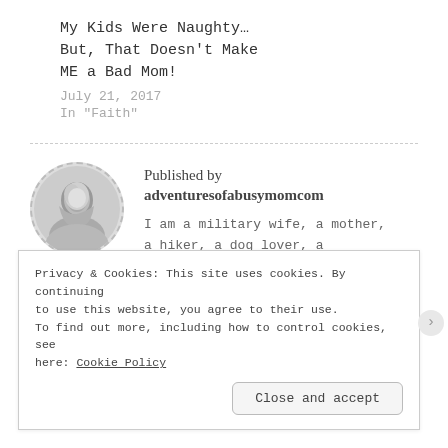My Kids Were Naughty… But, That Doesn't Make ME a Bad Mom!
July 21, 2017
In "Faith"
Published by adventuresofabusymomcom
I am a military wife, a mother, a hiker, a dog lover, a
Privacy & Cookies: This site uses cookies. By continuing to use this website, you agree to their use.
To find out more, including how to control cookies, see here: Cookie Policy
Close and accept